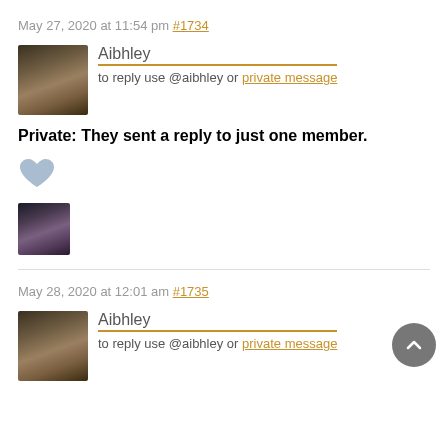May 27, 2020 at 11:54 pm #1734
Aibhley
to reply use @aibhley or private message
Private: They sent a reply to just one member.
[Figure (illustration): Heart icon (like button)]
[Figure (photo): Small user avatar photo]
May 28, 2020 at 12:01 am #1735
Aibhley
to reply use @aibhley or private message